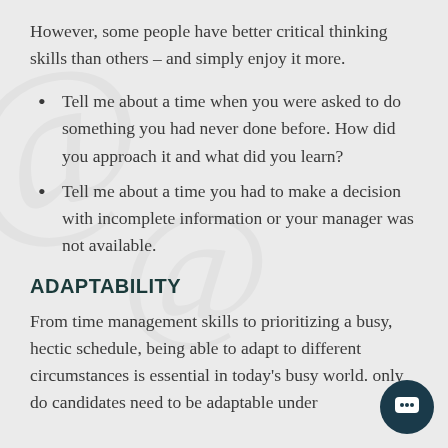However, some people have better critical thinking skills than others – and simply enjoy it more.
Tell me about a time when you were asked to do something you had never done before. How did you approach it and what did you learn?
Tell me about a time you had to make a decision with incomplete information or your manager was not available.
ADAPTABILITY
From time management skills to prioritizing a busy, hectic schedule, being able to adapt to different circumstances is essential in today's busy world. only do candidates need to be adaptable under